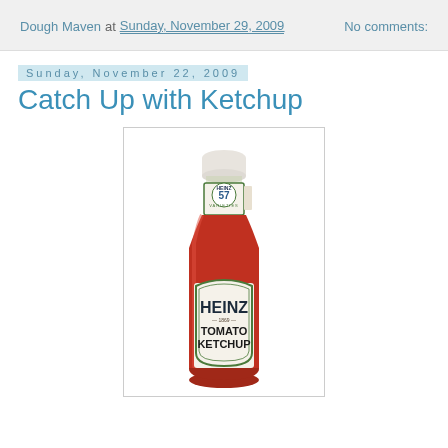Dough Maven at Sunday, November 29, 2009   No comments:
Sunday, November 22, 2009
Catch Up with Ketchup
[Figure (photo): A Heinz 57 Varieties Tomato Ketchup glass bottle, red ketchup visible inside, white cap, label showing HEINZ 57 VARIETIES at the neck and HEINZ 1869 TOMATO KETCHUP on the main body label with green border design.]